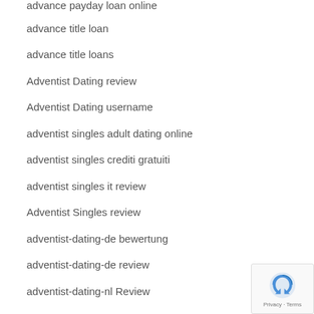advance payday loan online
advance title loan
advance title loans
Adventist Dating review
Adventist Dating username
adventist singles adult dating online
adventist singles crediti gratuiti
adventist singles it review
Adventist Singles review
adventist-dating-de bewertung
adventist-dating-de review
adventist-dating-nl Review